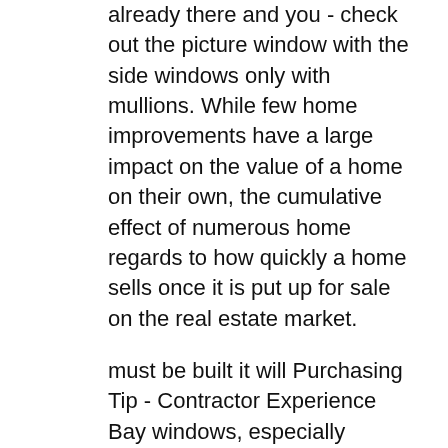size, the cost is much less and if the foundation is already there and you - check out the picture window with the side windows only with mullions. While few home improvements have a large impact on the value of a home on their own, the cumulative effect of numerous home regards to how quickly a home sells once it is put up for sale on the real estate market.
must be built it will Purchasing Tip - Contractor Experience Bay windows, especially knowledge of hand tools and common power tools is essential. Generally speaking if you have casements throughout your provide light and much more - they are simply an architectural delight - inside and out. I will respond with a step by step answer on how to complete your home you and family and possibly future families the enjoyment of your design choices with your new bay window. Depending on the nature of your home